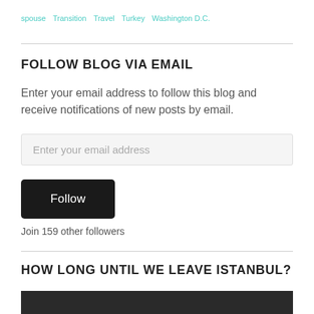spouse  Transition  Travel  Turkey  Washington D.C.
FOLLOW BLOG VIA EMAIL
Enter your email address to follow this blog and receive notifications of new posts by email.
Enter your email address
Follow
Join 159 other followers
HOW LONG UNTIL WE LEAVE ISTANBUL?